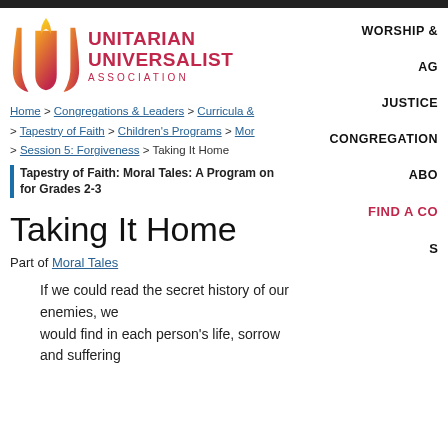[Figure (logo): Unitarian Universalist Association logo with flame icon and text]
WORSHIP &
AG
JUSTICE
CONGREGATION
ABO
FIND A CO
Home > Congregations & Leaders > Curricula & > Tapestry of Faith > Children's Programs > Mor > Session 5: Forgiveness > Taking It Home
Tapestry of Faith: Moral Tales: A Program on for Grades 2-3
Taking It Home
Part of Moral Tales
If we could read the secret history of our enemies, we would find in each person's life, sorrow and suffering